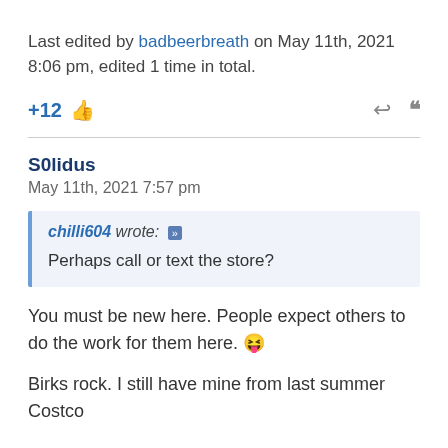Last edited by badbeerbreath on May 11th, 2021 8:06 pm, edited 1 time in total.
+12 [thumbs up] [reply] [quote]
S0lidus
May 11th, 2021 7:57 pm
chilli604 wrote: Perhaps call or text the store?
You must be new here. People expect others to do the work for them here. 😝
Birks rock. I still have mine from last summer Costco